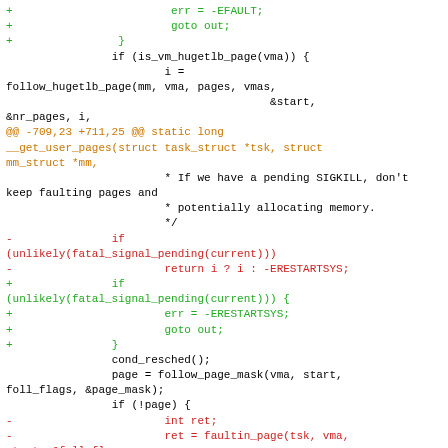[Figure (screenshot): A code diff snippet showing changes to Linux kernel memory management code (get_user_pages function). Lines with '+' are shown in green (additions), lines with '-' are shown in red (deletions), and diff hunk headers are shown in orange. The code shows modifications to error handling for SIGKILL and fatal signal pending checks.]